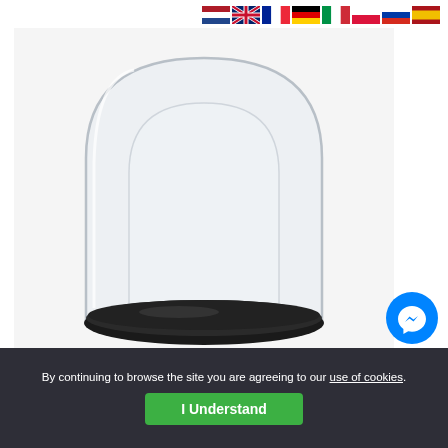[Figure (other): Row of country flag icons: Netherlands, UK, France, Germany, Italy, Poland, Russia, Spain]
[Figure (photo): A clear glass bell jar / cloche dome display case on a dark round wooden base, against a white background]
[Figure (other): Facebook Messenger chat icon (blue circle with white lightning bolt)]
By continuing to browse the site you are agreeing to our use of cookies.
I Understand